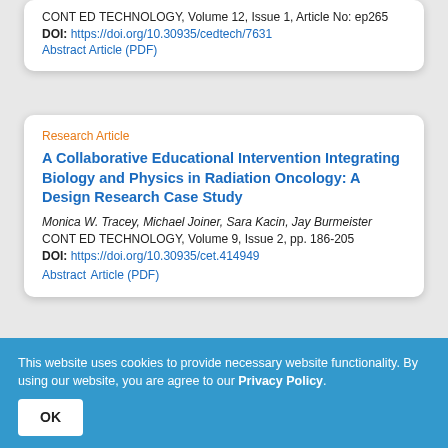CONT ED TECHNOLOGY, Volume 12, Issue 1, Article No: ep265
DOI: https://doi.org/10.30935/cedtech/7631
Abstract Article (PDF)
Research Article
A Collaborative Educational Intervention Integrating Biology and Physics in Radiation Oncology: A Design Research Case Study
Monica W. Tracey, Michael Joiner, Sara Kacin, Jay Burmeister
CONT ED TECHNOLOGY, Volume 9, Issue 2, pp. 186-205
DOI: https://doi.org/10.30935/cet.414949
Abstract Article (PDF)
Research Article
Examining the Conceptualization of Instructional
This website uses cookies to provide necessary website functionality. By using our website, you are agree to our Privacy Policy.
OK